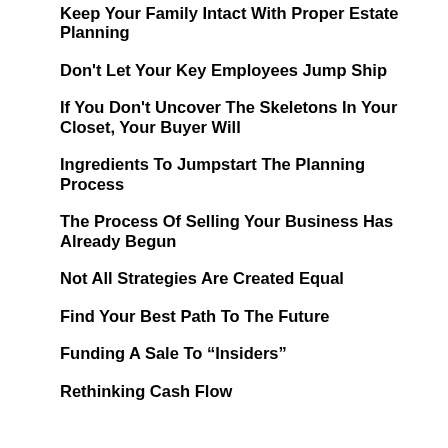Keep Your Family Intact With Proper Estate Planning
Don't Let Your Key Employees Jump Ship
If You Don't Uncover The Skeletons In Your Closet, Your Buyer Will
Ingredients To Jumpstart The Planning Process
The Process Of Selling Your Business Has Already Begun
Not All Strategies Are Created Equal
Find Your Best Path To The Future
Funding A Sale To "Insiders"
Rethinking Cash Flow